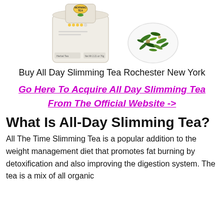[Figure (photo): Two product images side by side: left is a white bag of Morning Tea with label and icons, right is a white bowl/plate of loose leaf tea herbs]
Buy All Day Slimming Tea Rochester New York
Go Here To Acquire All Day Slimming Tea From The Official Website ->
What Is All-Day Slimming Tea?
All The Time Slimming Tea is a popular addition to the weight management diet that promotes fat burning by detoxification and also improving the digestion system. The tea is a mix of all organic components that are medicinally at their right to